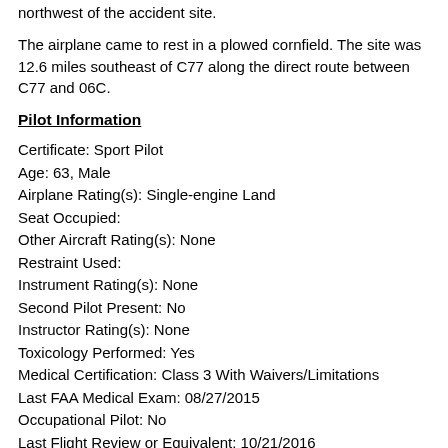northwest of the accident site.
The airplane came to rest in a plowed cornfield. The site was 12.6 miles southeast of C77 along the direct route between C77 and 06C.
Pilot Information
Certificate: Sport Pilot
Age: 63, Male
Airplane Rating(s): Single-engine Land
Seat Occupied:
Other Aircraft Rating(s): None
Restraint Used:
Instrument Rating(s): None
Second Pilot Present: No
Instructor Rating(s): None
Toxicology Performed: Yes
Medical Certification: Class 3 With Waivers/Limitations
Last FAA Medical Exam: 08/27/2015
Occupational Pilot: No
Last Flight Review or Equivalent: 10/21/2016